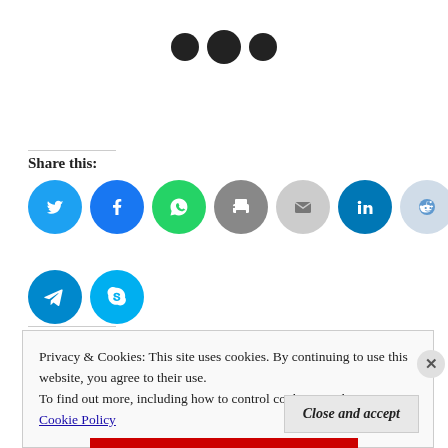[Figure (illustration): Three black circles (dots) centered at the top of the page, serving as a section break or ellipsis decoration.]
Share this:
[Figure (illustration): A row of social media sharing icons: Twitter (blue), Facebook (blue), WhatsApp (green), Print (gray), Email (gray), LinkedIn (dark blue), Reddit (light blue/gray), Tumblr (dark navy), Pinterest (red), Pocket (red). Second row: Telegram (blue), Skype (light blue).]
Privacy & Cookies: This site uses cookies. By continuing to use this website, you agree to their use.
To find out more, including how to control cookies, see here: Cookie Policy
Close and accept